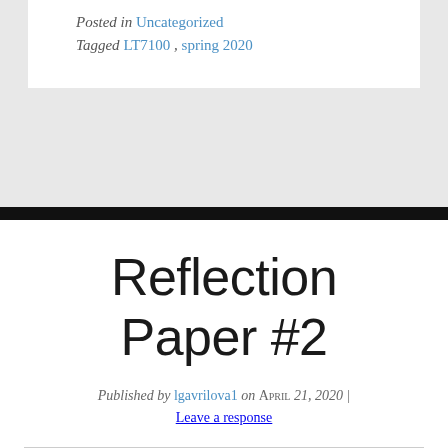Posted in Uncategorized
Tagged LT7100, spring 2020
Reflection Paper #2
Published by lgavrilova1 on April 21, 2020 | Leave a response